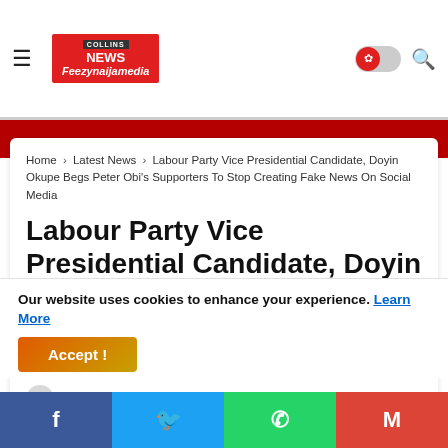Feezynaijamedia
Home > Latest News > Labour Party Vice Presidential Candidate, Doyin Okupe Begs Peter Obi's Supporters To Stop Creating Fake News On Social Media
Labour Party Vice Presidential Candidate, Doyin Okupe Begs Peter Obi's Supporters To Stop Creating Fake News On Social Media
Our website uses cookies to enhance your experience. Learn More
Accept !